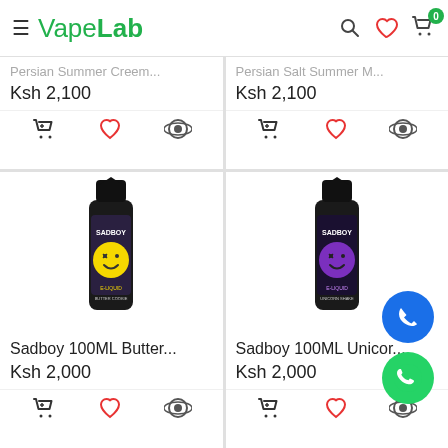VapeLab
Persian Summer Creem... Ksh 2,100
Persian Salt Summer M... Ksh 2,100
[Figure (photo): Sadboy 100ML Butter Cookie e-liquid bottle with yellow smiley face logo]
Sadboy 100ML Butter... Ksh 2,000
[Figure (photo): Sadboy 100ML Unicorn e-liquid bottle with purple smiley face logo]
Sadboy 100ML Unicor... Ksh 2,000